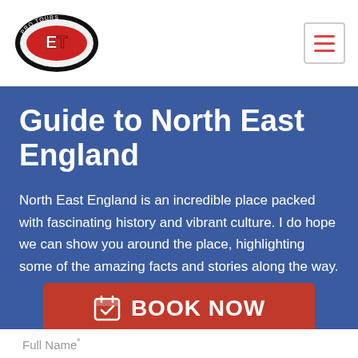[Figure (logo): Pro Tours North East circular logo with red center and black oval border with white text]
[Figure (other): Hamburger menu button with three red horizontal lines in a bordered square]
Guide to North East England
North East England is an incredible place packed with fascinating history and vibrant culture. I do hope we can show you around the place, highlighting some of the amazing facts and stories along the way.
BOOK NOW
Full Name*